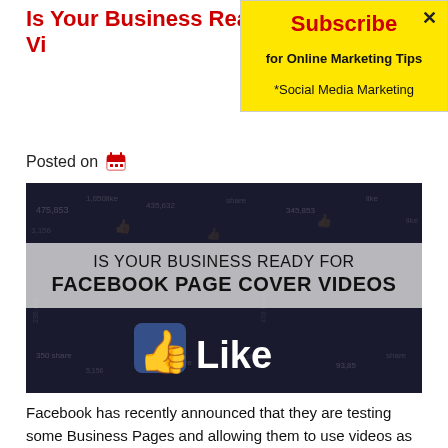Is Your Business Ready for Facebook Page Cover Videos
[Figure (screenshot): Subscribe popup box with yellow background, red 'Subscribe' heading, text 'for Online Marketing Tips' and '*Social Media Marketing', with X close button]
Posted on
[Figure (photo): Dark background image with Facebook Like thumbs-up icon and 'Like' text, overlaid with a gray banner reading 'IS YOUR BUSINESS READY FOR FACEBOOK PAGE COVER VIDEOS']
Facebook has recently announced that they are testing some Business Pages and allowing them to use videos as cover images. Any thoughts?